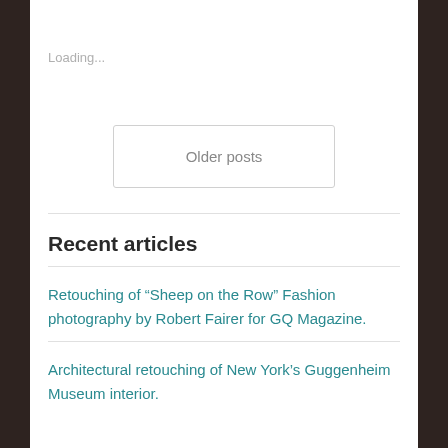Loading...
Older posts
Recent articles
Retouching of “Sheep on the Row” Fashion photography by Robert Fairer for GQ Magazine.
Architectural retouching of New York’s Guggenheim Museum interior.